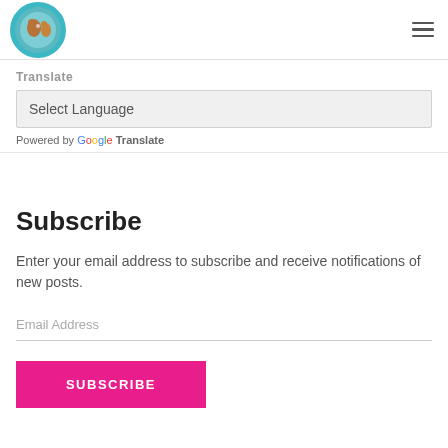Logo and navigation header with hamburger menu
Translate
Select Language
Powered by Google Translate
Subscribe
Enter your email address to subscribe and receive notifications of new posts.
Email Address
SUBSCRIBE